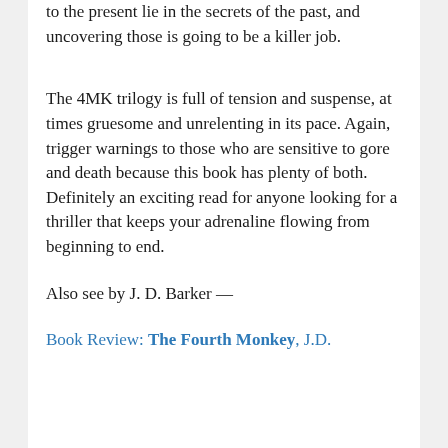to the present lie in the secrets of the past, and uncovering those is going to be a killer job.
The 4MK trilogy is full of tension and suspense, at times gruesome and unrelenting in its pace. Again, trigger warnings to those who are sensitive to gore and death because this book has plenty of both. Definitely an exciting read for anyone looking for a thriller that keeps your adrenaline flowing from beginning to end.
Also see by J. D. Barker —
Book Review: The Fourth Monkey, J.D.